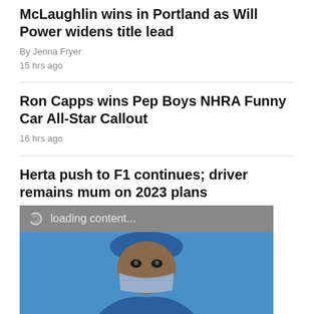McLaughlin wins in Portland as Will Power widens title lead
By Jenna Fryer
15 hrs ago
Ron Capps wins Pep Boys NHRA Funny Car All-Star Callout
16 hrs ago
Herta push to F1 continues; driver remains mum on 2023 plans
By Jenna Fryer
19 hrs ago
[Figure (photo): Advertisement banner with loading content bar showing a spinning icon and 'loading content...' text, below which is a blue background image of a person wearing a medical mask with the word RELIABLE in large white bold text at the bottom]